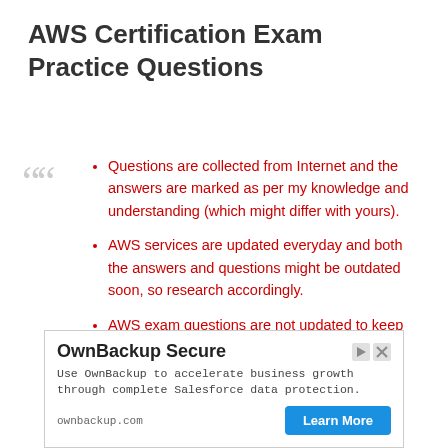AWS Certification Exam Practice Questions
Questions are collected from Internet and the answers are marked as per my knowledge and understanding (which might differ with yours).
AWS services are updated everyday and both the answers and questions might be outdated soon, so research accordingly.
AWS exam questions are not updated to keep up the pace with AWS updates, so
[Figure (other): Advertisement for OwnBackup Secure. Title: OwnBackup Secure. Body: Use OwnBackup to accelerate business growth through complete Salesforce data protection. URL: ownbackup.com. Button: Learn More.]